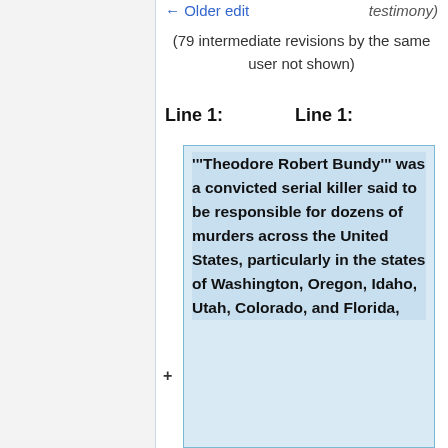← Older edit   testimony)
(79 intermediate revisions by the same user not shown)
Line 1:   Line 1:
'''Theodore Robert Bundy''' was a convicted serial killer said to be responsible for dozens of murders across the United States, particularly in the states of Washington, Oregon, Idaho, Utah, Colorado, and Florida,